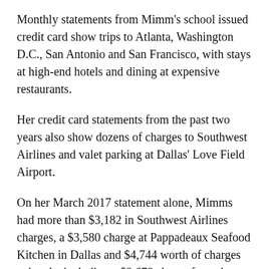Monthly statements from Mimm's school issued credit card show trips to Atlanta, Washington D.C., San Antonio and San Francisco, with stays at high-end hotels and dining at expensive restaurants.
Her credit card statements from the past two years also show dozens of charges to Southwest Airlines and valet parking at Dallas' Love Field Airport.
On her March 2017 statement alone, Mimms had more than $3,182 in Southwest Airlines charges, a $3,580 charge at Pappadeaux Seafood Kitchen in Dallas and $4,744 worth of charges at hotels; including a $2,678 charge from the Ritz Carlton in San Francisco.